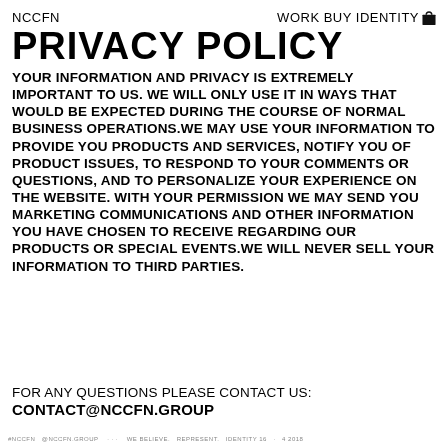NCCFN    WORK BUY IDENTITY
PRIVACY POLICY
YOUR INFORMATION AND PRIVACY IS EXTREMELY IMPORTANT TO US. WE WILL ONLY USE IT IN WAYS THAT WOULD BE EXPECTED DURING THE COURSE OF NORMAL BUSINESS OPERATIONS.WE MAY USE YOUR INFORMATION TO PROVIDE YOU PRODUCTS AND SERVICES, NOTIFY YOU OF PRODUCT ISSUES, TO RESPOND TO YOUR COMMENTS OR QUESTIONS, AND TO PERSONALIZE YOUR EXPERIENCE ON THE WEBSITE. WITH YOUR PERMISSION WE MAY SEND YOU MARKETING COMMUNICATIONS AND OTHER INFORMATION YOU HAVE CHOSEN TO RECEIVE REGARDING OUR PRODUCTS OR SPECIAL EVENTS.WE WILL NEVER SELL YOUR INFORMATION TO THIRD PARTIES.
FOR ANY QUESTIONS PLEASE CONTACT US: CONTACT@NCCFN.GROUP
#NCCFN @NCCFN.GROUP · · · WE BELIEVE. REPRESENT. IDENTITY 16 · 4 2018